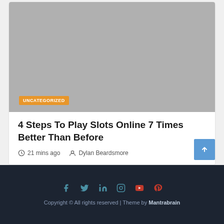[Figure (photo): Gray placeholder image for article thumbnail with orange UNCATEGORIZED badge in lower left]
4 Steps To Play Slots Online 7 Times Better Than Before
21 mins ago   Dylan Beardsmore
Copyright © All rights reserved | Theme by Mantrabrain